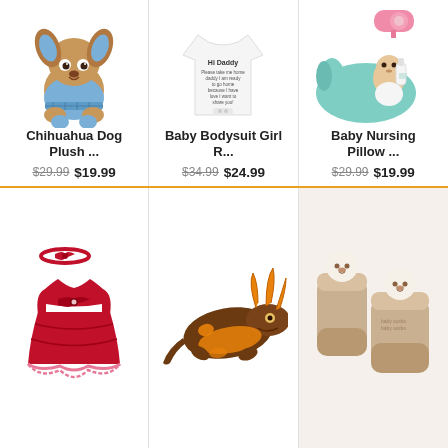[Figure (photo): Chihuahua dog plush toy in blue outfit]
Chihuahua Dog Plush ...
$29.99 $19.99
[Figure (photo): Baby bodysuit with 'Hi Daddy' text on white onesie]
Baby Bodysuit Girl R...
$34.99 $24.99
[Figure (photo): Baby nursing pillow with baby drinking from bottle, pink teether]
Baby Nursing Pillow ...
$29.99 $19.99
[Figure (photo): Red baby girl dress with bow headband]
[Figure (photo): Brown dragon/lizard stuffed animal plush toy with orange details]
[Figure (photo): Beige baby socks with bear face pompom on top]